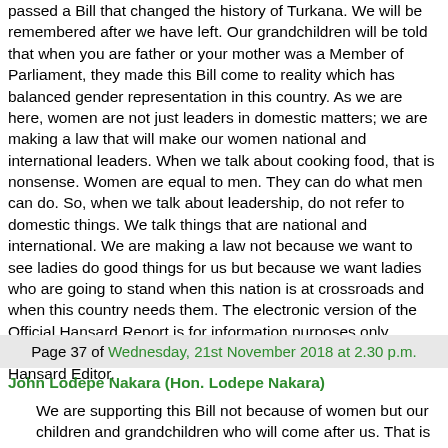to remember in history that in 2018, the 11th Parliament passed a Bill that changed the history of Turkana. We will be remembered after we have left. Our grandchildren will be told that when you are father or your mother was a Member of Parliament, they made this Bill come to reality which has balanced gender representation in this country. As we are here, women are not just leaders in domestic matters; we are making a law that will make our women national and international leaders. When we talk about cooking food, that is nonsense. Women are equal to men. They can do what men can do. So, when we talk about leadership, do not refer to domestic things. We talk things that are national and international. We are making a law not because we want to see ladies do good things for us but because we want ladies who are going to stand when this nation is at crossroads and when this country needs them. The electronic version of the Official Hansard Report is for information purposes only. Acertified version of this Report can be obtained from the Hansard Editor.
Page 37 of Wednesday, 21st November 2018 at 2.30 p.m.
John Lodepe Nakara (Hon. Lodepe Nakara)
We are supporting this Bill not because of women but our children and grandchildren who will come after us. That is so that